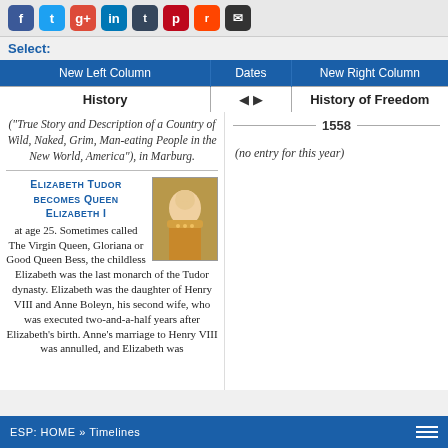Social share icons: Facebook, Twitter, Google+, LinkedIn, Tumblr, Pinterest, Reddit, Email
Select:
| New Left Column | Dates | New Right Column |
| --- | --- | --- |
| History | ◄ ► | History of Freedom |
(True Story and Description of a Country of Wild, Naked, Grim, Man-eating People in the New World, America"), in Marburg.
1558
Elizabeth Tudor becomes Queen Elizabeth I at age 25. Sometimes called The Virgin Queen, Gloriana or Good Queen Bess, the childless Elizabeth was the last monarch of the Tudor dynasty. Elizabeth was the daughter of Henry VIII and Anne Boleyn, his second wife, who was executed two-and-a-half years after Elizabeth's birth. Anne's marriage to Henry VIII was annulled, and Elizabeth was
(no entry for this year)
ESP: HOME » Timelines